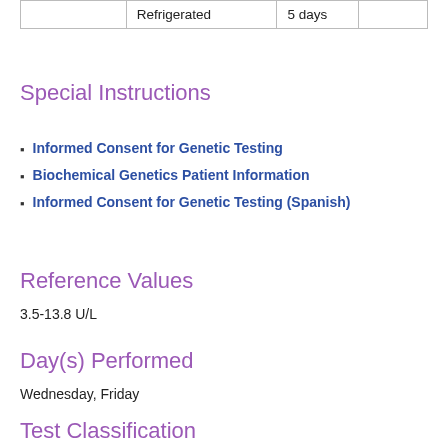|  |  |  |  |
| --- | --- | --- | --- |
|  | Refrigerated | 5 days |  |
Special Instructions
Informed Consent for Genetic Testing
Biochemical Genetics Patient Information
Informed Consent for Genetic Testing (Spanish)
Reference Values
3.5-13.8 U/L
Day(s) Performed
Wednesday, Friday
Test Classification